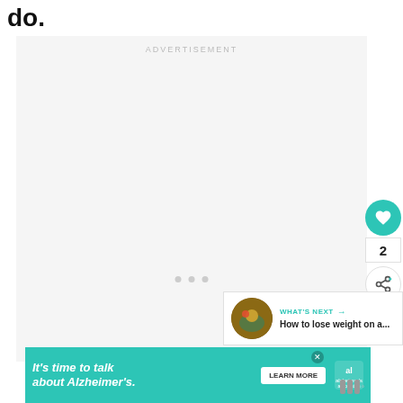do.
[Figure (screenshot): Advertisement placeholder box with light gray background and 'ADVERTISEMENT' label at top, three gray dots centered near bottom]
[Figure (infographic): What's Next card with food image thumbnail and text: WHAT'S NEXT → How to lose weight on a...]
[Figure (infographic): Bottom advertisement banner: teal background with italic text 'It's time to talk about Alzheimer's.' with LEARN MORE button and Alzheimer's Association logo]